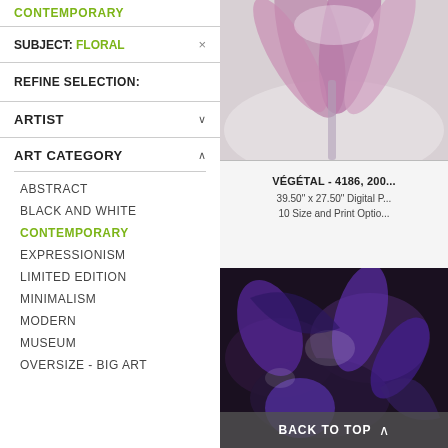CONTEMPORARY
SUBJECT: FLORAL
REFINE SELECTION:
ARTIST
ART CATEGORY
ABSTRACT
BLACK AND WHITE
CONTEMPORARY
EXPRESSIONISM
LIMITED EDITION
MINIMALISM
MODERN
MUSEUM
OVERSIZE - BIG ART
[Figure (photo): Close-up photo of pink/purple flower petals, desaturated background]
VÉGÉTAL - 4186, 200...
39.50" x 27.50" Digital P...
10 Size and Print Optio...
[Figure (photo): Abstract dark purple and white floral/botanical image]
BACK TO TOP